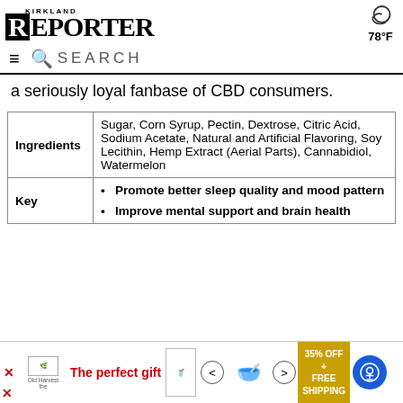KIRKLAND REPORTER — 78°F
a seriously loyal fanbase of CBD consumers.
|  |  |
| --- | --- |
| Ingredients | Sugar, Corn Syrup, Pectin, Dextrose, Citric Acid, Sodium Acetate, Natural and Artificial Flavoring, Soy Lecithin, Hemp Extract (Aerial Parts), Cannabidiol, Watermelon |
| Key | • Promote better sleep quality and mood pattern
• Improve mental support and brain health |